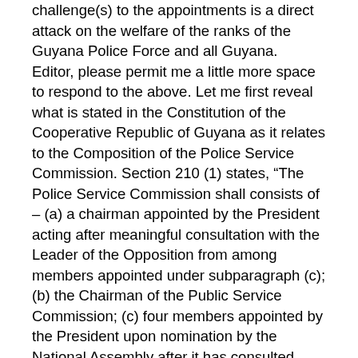challenge(s) to the appointments is a direct attack on the welfare of the ranks of the Guyana Police Force and all Guyana. Editor, please permit me a little more space to respond to the above. Let me first reveal what is stated in the Constitution of the Cooperative Republic of Guyana as it relates to the Composition of the Police Service Commission. Section 210 (1) states, “The Police Service Commission shall consists of – (a) a chairman appointed by the President acting after meaningful consultation with the Leader of the Opposition from among members appointed under subparagraph (c); (b) the Chairman of the Public Service Commission; (c) four members appointed by the President upon nomination by the National Assembly after it has consulted such bodies as appear to it to represent the majority of the members of the Police Force and other such body it deems fit: Providing that a person should be disqualified for appointment as a member of the Commission if he or she is a public officer.” Section (4) states in part, “If the office of an appointed member of the Police Service Commission is vacant or if the holder thereof is for any reason unable to perform the functions of his or her office, the President, acting after meaningful consultation with the leader of the opposition